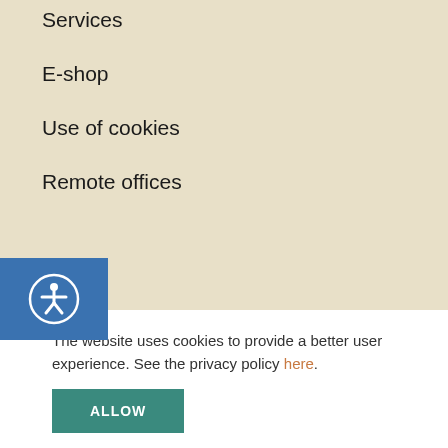Services
E-shop
Use of cookies
Remote offices
[Figure (illustration): Accessibility button icon — blue rectangle with white circle containing a person/human figure icon (accessibility symbol)]
The website uses cookies to provide a better user experience. See the privacy policy here.
ALLOW